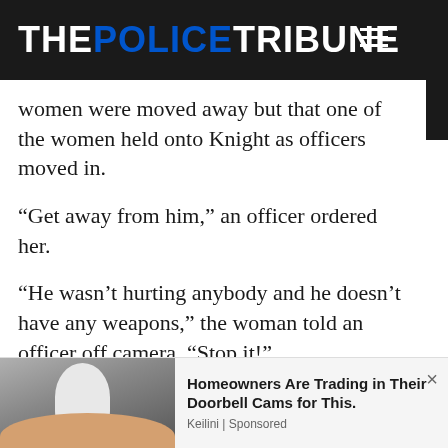THE POLICE TRIBUNE
women were moved away but that one of the women held onto Knight as officers moved in.
“Get away from him,” an officer ordered her.
“He wasn’t hurting anybody and he doesn’t have any weapons,” the woman told an officer off camera. “Stop it!”
[Figure (photo): Advertisement showing a light bulb camera product with a hand holding it]
Homeowners Are Trading in Their Doorbell Cams for This. Keilini | Sponsored